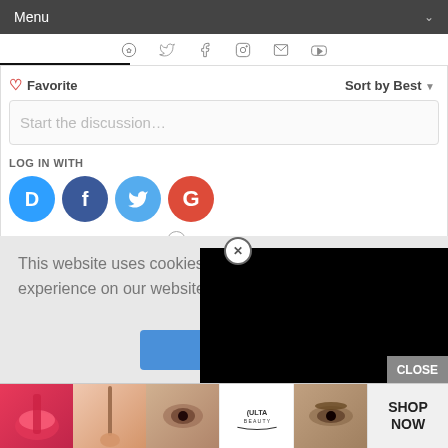Menu
[Figure (screenshot): Social media icon bar with Pinterest, Twitter, Facebook, Instagram, Email, YouTube icons]
Favorite   Sort by Best
Start the discussion…
LOG IN WITH
[Figure (screenshot): Social login buttons: Disqus (D), Facebook (f), Twitter bird, Google (G)]
OR SIGN UP WITH DISQUS ?
This website uses cookies to e… experience on our website. Learn more
Got it!
CLOSE
[Figure (screenshot): Black video player popup overlay]
[Figure (advertisement): Ulta Beauty advertisement banner showing makeup images and SHOP NOW button]